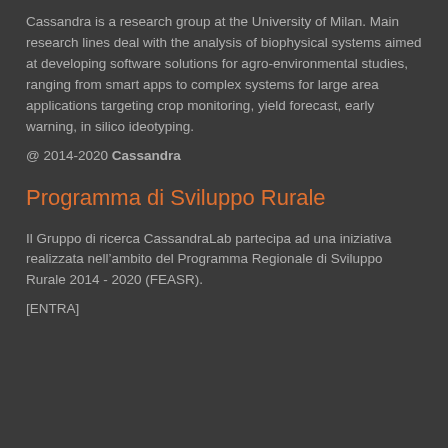Cassandra is a research group at the University of Milan. Main research lines deal with the analysis of biophysical systems aimed at developing software solutions for agro-environmental studies, ranging from smart apps to complex systems for large area applications targeting crop monitoring, yield forecast, early warning, in silico ideotyping.
@ 2014-2020 Cassandra
Programma di Sviluppo Rurale
Il Gruppo di ricerca CassandraLab partecipa ad una iniziativa realizzata nell’ambito del Programma Regionale di Sviluppo Rurale 2014 - 2020 (FEASR).
[ENTRA]